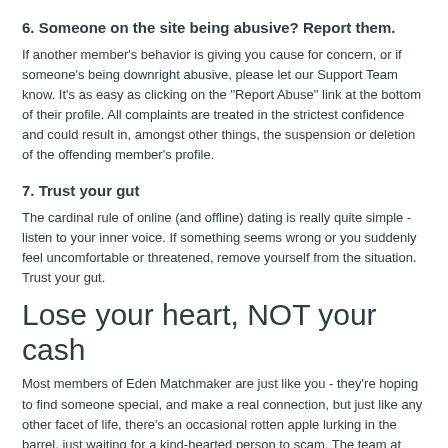6. Someone on the site being abusive? Report them.
If another member's behavior is giving you cause for concern, or if someone's being downright abusive, please let our Support Team know. It's as easy as clicking on the "Report Abuse" link at the bottom of their profile. All complaints are treated in the strictest confidence and could result in, amongst other things, the suspension or deletion of the offending member's profile.
7. Trust your gut
The cardinal rule of online (and offline) dating is really quite simple - listen to your inner voice. If something seems wrong or you suddenly feel uncomfortable or threatened, remove yourself from the situation. Trust your gut.
Lose your heart, NOT your cash
Most members of Eden Matchmaker are just like you - they're hoping to find someone special, and make a real connection, but just like any other facet of life, there's an occasional rotten apple lurking in the barrel, just waiting for a kind-hearted person to scam. The team at Eden Matchmaker go to great effort to find, remove and make it difficult for them to join again. Scammers are professional criminals